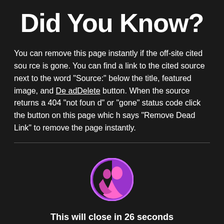Did You Know?
You can remove this page instantly if the off-site cited source is gone. You can find a link to the cited source next to the word "Source:" below the title, featured image, and DeadDelete button. When the source returns a 404 "not found" or "gone" status code click the button on this page which says "Remove Dead Link" to remove the page instantly.
[Figure (logo): Circular logo with purple border showing a pink/magenta figure silhouette on dark background]
This will close in 26 seconds